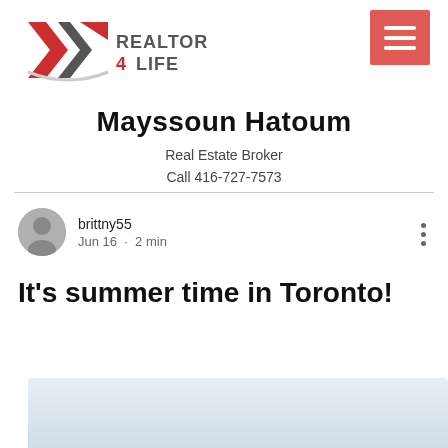[Figure (logo): Realtor 4 Life logo with red and grey chevron/arrow mark and text 'REALTOR 4 LIFE']
[Figure (other): Salmon/red hamburger menu button with three white horizontal lines]
Mayssoun Hatoum
Real Estate Broker
Call 416-727-7573
brittny55
Jun 16 · 2 min
It's summer time in Toronto!
[Figure (photo): Partial light blue/grey gradient image at bottom of page]